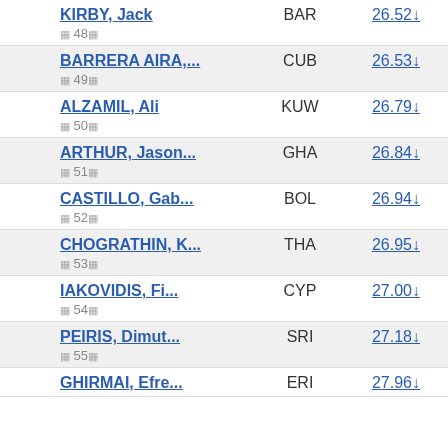KIRBY, Jack | BAR | 26.52↓ | rank 48
BARRERA AIRA,... | CUB | 26.53↓ | rank 49
ALZAMIL, Ali | KUW | 26.79↓ | rank 50
ARTHUR, Jason... | GHA | 26.84↓ | rank 51
CASTILLO, Gab... | BOL | 26.94↓ | rank 52
CHOGRATHIN, K... | THA | 26.95↓ | rank 53
IAKOVIDIS, Fi... | CYP | 27.00↓ | rank 54
PEIRIS, Dimut... | SRI | 27.18↓ | rank 55
GHIRMAI, Efre... | ERI | 27.96↓